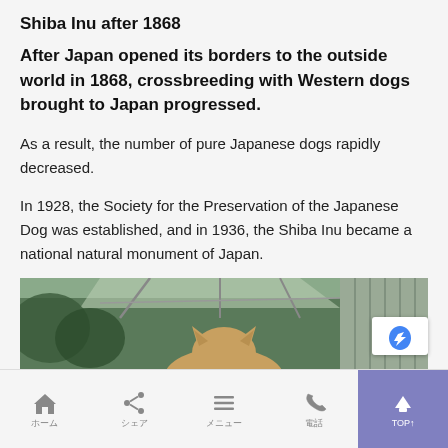Shiba Inu after 1868
After Japan opened its borders to the outside world in 1868, crossbreeding with Western dogs brought to Japan progressed.
As a result, the number of pure Japanese dogs rapidly decreased.
In 1928, the Society for the Preservation of the Japanese Dog was established, and in 1936, the Shiba Inu became a national natural monument of Japan.
[Figure (photo): A Shiba Inu dog viewed from behind, looking out through a window or screen at an outdoor scene with greenery and structures in the background.]
Home | Share | Menu | Phone | TOP↑